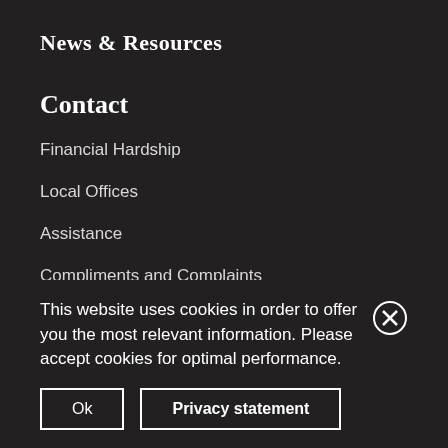News & Resources
Contact
Financial Hardship
Local Offices
Assistance
Compliments and Complaints
NTI Dispute Resolution Process
This website uses cookies in order to offer you the most relevant information. Please accept cookies for optimal performance.
Ok
Privacy statement